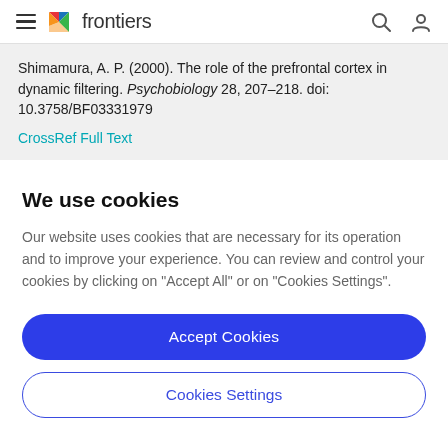frontiers
Shimamura, A. P. (2000). The role of the prefrontal cortex in dynamic filtering. Psychobiology 28, 207–218. doi: 10.3758/BF03331979
CrossRef Full Text
We use cookies
Our website uses cookies that are necessary for its operation and to improve your experience. You can review and control your cookies by clicking on "Accept All" or on "Cookies Settings".
Accept Cookies
Cookies Settings